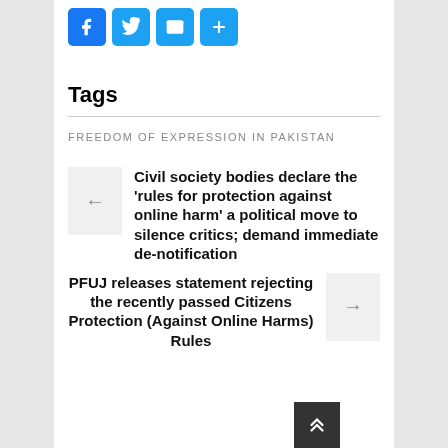[Figure (other): Social sharing buttons: Facebook (blue F icon), Twitter (blue bird icon), Email (blue envelope icon), More/Plus (blue + icon)]
Tags
FREEDOM OF EXPRESSION IN PAKISTAN
Civil society bodies declare the 'rules for protection against online harm' a political move to silence critics; demand immediate de-notification
PFUJ releases statement rejecting the recently passed Citizens Protection (Against Online Harms) Rules